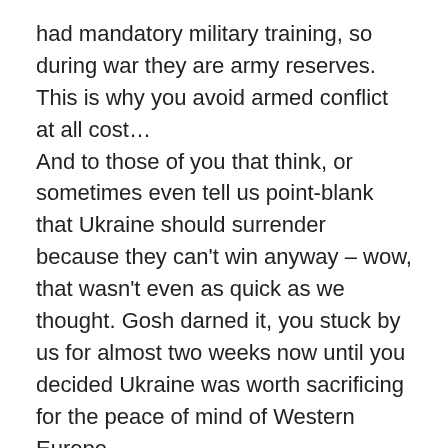had mandatory military training, so during war they are army reserves. This is why you avoid armed conflict at all cost…
And to those of you that think, or sometimes even tell us point-blank that Ukraine should surrender because they can't win anyway – wow, that wasn't even as quick as we thought. Gosh darned it, you stuck by us for almost two weeks now until you decided Ukraine was worth sacrificing for the peace of mind of Western Europe.
We've even heard that Ukrainians should protest like Gandhi, maybe stand in front of tanks with flowers and shit. You've obviously never seen what pacification of peaceful protests by an army looks like. But some of us have.
Should Ukraine surrender? NO. Not ever. Fuck, no. As